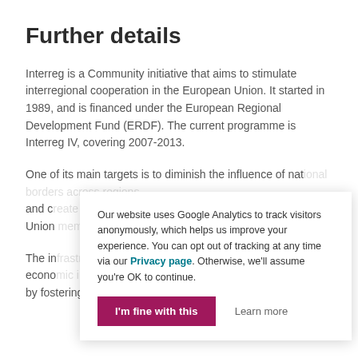Further details
Interreg is a Community initiative that aims to stimulate interregional cooperation in the European Union. It started in 1989, and is financed under the European Regional Development Fund (ERDF). The current programme is Interreg IV, covering 2007-2013.
One of its main targets is to diminish the influence of nat[ional borders] and c[reate a unified] Union [...]
The in[itiative boosts the] econo[my and development] by fostering the balanced development through
Our website uses Google Analytics to track visitors anonymously, which helps us improve your experience. You can opt out of tracking at any time via our Privacy page. Otherwise, we'll assume you're OK to continue.
I'm fine with this | Learn more